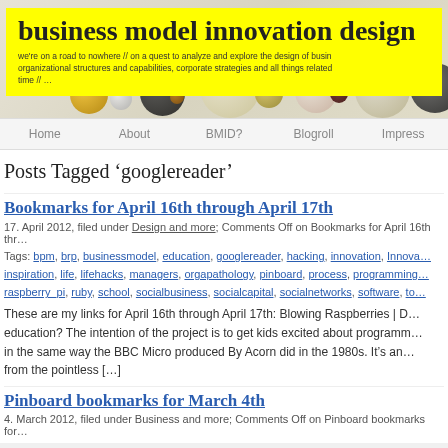business model innovation design
we're on a road to nowhere // on a quest to analyze and explore the design of business models, organizational structures and capabilities, corporate strategies and all things related to business // part time // …
[Figure (illustration): Decorative header image with colorful bubbles/spheres on light background]
Home   About   BMID?   Blogroll   Impress
Posts Tagged 'googlereader'
Bookmarks for April 16th through April 17th
17. April 2012, filed under Design and more; Comments Off on Bookmarks for April 16th thr…
Tags: bpm, brp, businessmodel, education, googlereader, hacking, innovation, Innova… inspiration, life, lifehacks, managers, orgapathology, pinboard, process, programming… raspberry_pi, ruby, school, socialbusiness, socialcapital, socialnetworks, software, to…
These are my links for April 16th through April 17th: Blowing Raspberries | D… education? The intention of the project is to get kids excited about programm… in the same way the BBC Micro produced By Acorn did in the 1980s. It's an… from the pointless […]
Pinboard bookmarks for March 4th
4. March 2012, filed under Business and more; Comments Off on Pinboard bookmarks for…